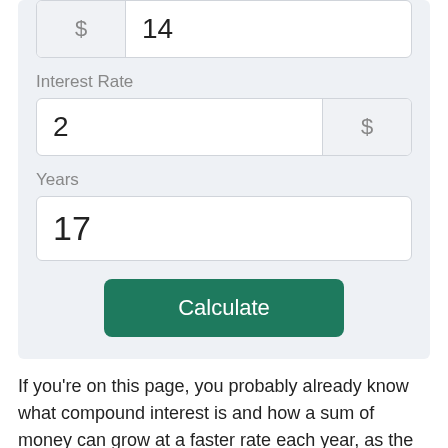[Figure (screenshot): Web calculator UI showing three input fields: a dollar-prefixed field with value 14, an Interest Rate field with value 2 and dollar suffix, a Years field with value 17, and a green Calculate button.]
If you're on this page, you probably already know what compound interest is and how a sum of money can grow at a faster rate each year, as the interest is added to the original principal